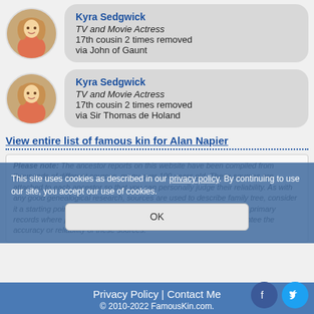[Figure (photo): Profile photo of Kyra Sedgwick (circular, blonde woman)]
Kyra Sedgwick
TV and Movie Actress
17th cousin 2 times removed
via John of Gaunt
[Figure (photo): Profile photo of Kyra Sedgwick (circular, blonde woman)]
Kyra Sedgwick
TV and Movie Actress
17th cousin 2 times removed
via Sir Thomas de Holand
View entire list of famous kin for Alan Napier
Please note: The ancestor reports on this website have been compiled from thousands of different sources, many over 100 years old. These sources are attached to each ancestor so that you can personally judge their reliability. As with any good genealogical research, sources are used to describe family tree, consider it a starting point for further research. It is always preferable to locate primary records where possible. FamousKin.com cannot and does not guarantee the accuracy or reliability of these sources.
This site uses cookies as described in our privacy policy. By continuing to use our site, you accept our use of cookies.
OK
Privacy Policy | Contact Me
© 2010-2022 FamousKin.com.